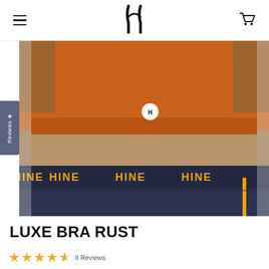HINE logo, hamburger menu, cart icon
[Figure (photo): Close-up of a dark-skinned woman wearing an orange sports bra with a white HINE logo circle, and navy blue running shorts with yellow 'HINE' text repeated on the waistband]
LUXE BRA RUST
★★★★½  8 Reviews